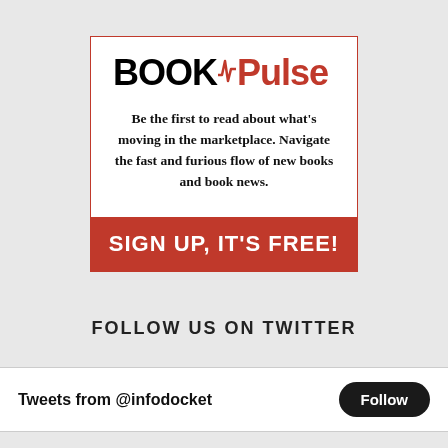[Figure (logo): BOOKPulse advertisement with logo, tagline text, and red signup bar]
Be the first to read about what's moving in the marketplace. Navigate the fast and furious flow of new books and book news.
SIGN UP, IT'S FREE!
FOLLOW US ON TWITTER
Tweets from @infodocket
Follow